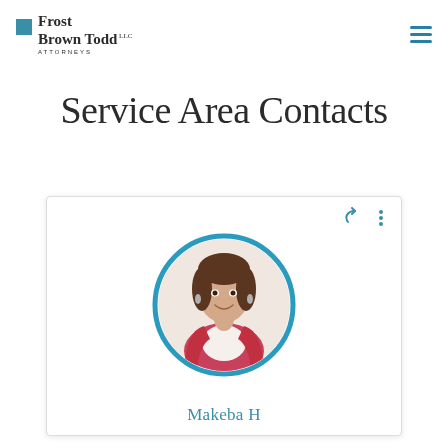Frost Brown Todd LLC Attorneys
Service Area Contacts
[Figure (photo): Profile card for a female attorney with a circular photo framed in teal. The woman has brown hair and is wearing a red cardigan over a white top. The card shows share and menu icons at the top right. Partial name visible at the bottom: 'Makeba H...']
Makeba H